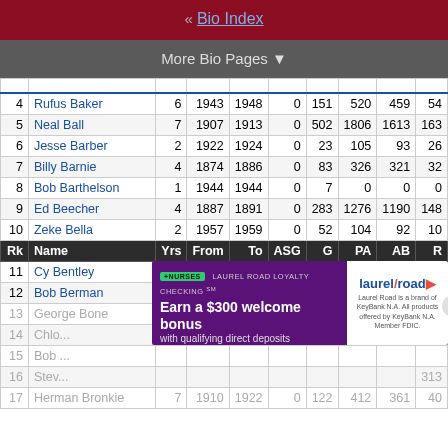« Bio Index
More Bio Pages ▼
| Rk | Name | Yrs | From | To | ASG | G | PA | AB | R | H |
| --- | --- | --- | --- | --- | --- | --- | --- | --- | --- | --- |
| 4 | Rufus Baker | 6 | 1943 | 1948 | 0 | 151 | 520 | 459 | 54 |  |
| 5 | Neal Ball | 7 | 1907 | 1913 | 0 | 502 | 1806 | 1613 | 163 | 4 |
| 6 | Jesse Barber | 2 | 1922 | 1924 | 0 | 23 | 105 | 93 | 26 |  |
| 7 | Billy Barnie | 4 | 1874 | 1886 | 0 | 83 | 326 | 321 | 32 |  |
| 8 | Bob Barthelson | 1 | 1944 | 1944 | 0 | 7 | 0 | 0 | 0 |  |
| 9 | Ed Beecher | 4 | 1887 | 1891 | 0 | 283 | 1276 | 1190 | 148 | 3 |
| 10 | Zeke Bella | 2 | 1957 | 1959 | 0 | 52 | 104 | 92 | 10 |  |
| Rk | Name | Yrs | From | To | ASG | G | PA | AB | R | H |
| 11 | Cy Bentley | 1 | 1872 | 1872 | 0 | 23 | 115 | 114 | 23 |  |
| 12 | Bob Berman | 1 | 1918 | 1918 | 0 | 2 | 0 | 0 | 0 |  |
| 13 | George Bone | 1 | 1901 | 1901 | 0 | 12 | 48 | 43 | 6 |  |
| 14 | Chlo... | ... | ... | ... | ... | ... | ... | ... | ... | 0 |
| 15 | Bob ... | ... | ... | ... | ... | ... | ... | ... | ... | 0 |
| 16 | Steve... | ... | ... | ... | ... | ... | ... | ... | ... | 313 |
| 17 | Herman Bronkie | 7 | 1910 | 1922 | 0 | 122 | 412 | 361 | 40 |  |
[Figure (other): Advertisement banner for Laurel Road Loyalty Checking offering $300 welcome bonus for nurses with qualifying direct deposits]